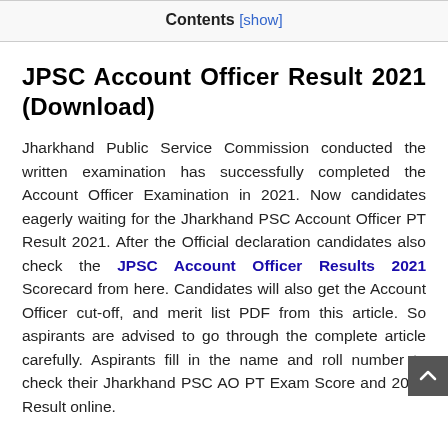Contents [show]
JPSC Account Officer Result 2021 (Download)
Jharkhand Public Service Commission conducted the written examination has successfully completed the Account Officer Examination in 2021. Now candidates eagerly waiting for the Jharkhand PSC Account Officer PT Result 2021. After the Official declaration candidates also check the JPSC Account Officer Results 2021 Scorecard from here. Candidates will also get the Account Officer cut-off, and merit list PDF from this article. So aspirants are advised to go through the complete article carefully. Aspirants fill in the name and roll number to check their Jharkhand PSC AO PT Exam Score and 2021 Result online.